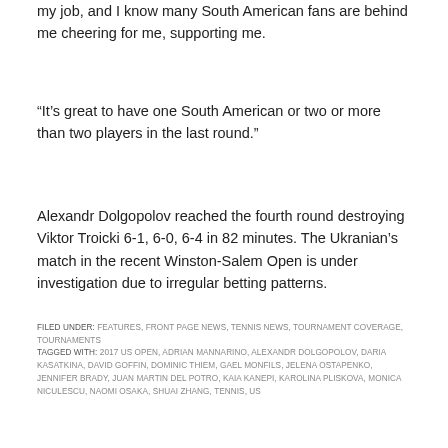my job, and I know many South American fans are behind me cheering for me, supporting me.
“It’s great to have one South American or two or more than two players in the last round.”
Alexandr Dolgopolov reached the fourth round destroying Viktor Troicki 6-1, 6-0, 6-4 in 82 minutes. The Ukranian’s match in the recent Winston-Salem Open is under investigation due to irregular betting patterns.
FILED UNDER: FEATURES, FRONT PAGE NEWS, TENNIS NEWS, TOURNAMENT COVERAGE, TOURNAMENTS
TAGGED WITH: 2017 US OPEN, ADRIAN MANNARINO, ALEXANDR DOLGOPOLOV, DARIA KASATKINA, DAVID GOFFIN, DOMINIC THIEM, GAEL MONFILS, JELENA OSTAPENKO, JENNIFER BRADY, JUAN MARTIN DEL POTRO, KAIA KANEPI, KAROLINA PLISKOVA, MONICA NICULESCU, NAOMI OSAKA, SHUAI ZHANG, TENNIS, US